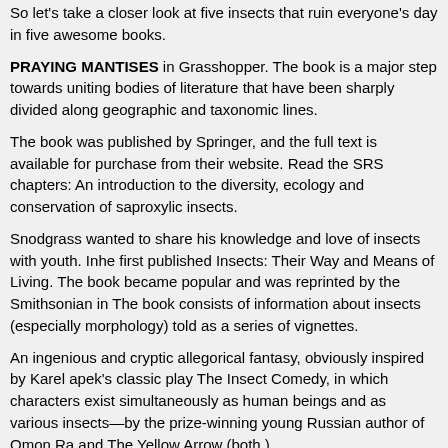So let's take a closer look at five insects that ruin everyone's day in five awesome books.
PRAYING MANTISES in Grasshopper. The book is a major step towards uniting bodies of literature that have been sharply divided along geographic and taxonomic lines.
The book was published by Springer, and the full text is available for purchase from their website. Read the SRS chapters: An introduction to the diversity, ecology and conservation of saproxylic insects.
Snodgrass wanted to share his knowledge and love of insects with youth. Inhe first published Insects: Their Way and Means of Living. The book became popular and was reprinted by the Smithsonian in The book consists of information about insects (especially morphology) told as a series of vignettes.
An ingenious and cryptic allegorical fantasy, obviously inspired by Karel apek's classic play The Insect Comedy, in which characters exist simultaneously as human beings and as various insects—by the prize-winning young Russian author of Omon Ra and The Yellow Arrow (both ).
Download Living insects EPUB